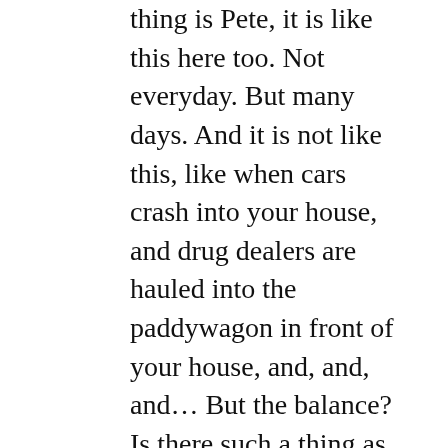thing is Pete, it is like this here too. Not everyday. But many days. And it is not like this, like when cars crash into your house, and drug dealers are hauled into the paddywagon in front of your house, and, and, and... But the balance? Is there such a thing as balance. I can't wait for you to spend more time with US (VACATION LAND USA) and tell me what you think about what we have going on here. I'd love your take on the big picture...